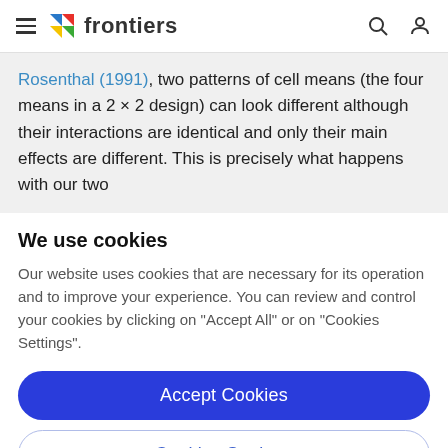frontiers
Rosenthal (1991), two patterns of cell means (the four means in a 2 × 2 design) can look different although their interactions are identical and only their main effects are different. This is precisely what happens with our two
We use cookies
Our website uses cookies that are necessary for its operation and to improve your experience. You can review and control your cookies by clicking on "Accept All" or on "Cookies Settings".
Accept Cookies
Cookies Settings